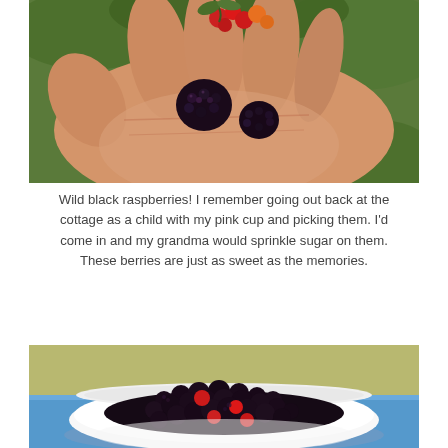[Figure (photo): A hand holding several wild black raspberries with some red unripe berries and orange berries, with green leaves in the background]
Wild black raspberries! I remember going out back at the cottage as a child with my pink cup and picking them. I’d come in and my grandma would sprinkle sugar on them. These berries are just as sweet as the memories.
[Figure (photo): A white bowl filled with wild black raspberries (some red/unripe), on a blue surface with a yellow-green background]